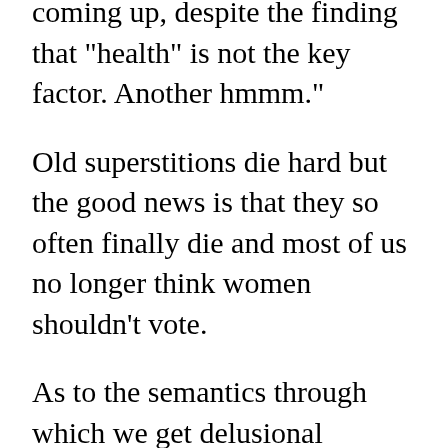... "health" kept coming up, despite the finding that "health" is not the key factor. Another hmmm."
Old superstitions die hard but the good news is that they so often finally die and most of us no longer think women shouldn't vote.
As to the semantics through which we get delusional